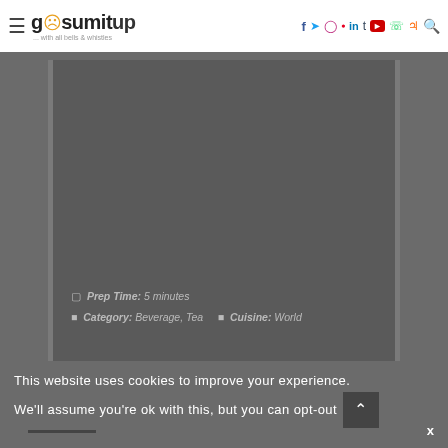gosumitup — with all bells & whistles — social navigation bar
[Figure (screenshot): Dark gray content area with recipe metadata: Prep Time 5 minutes, Category Beverage Tea, Cuisine World]
Prep Time: 5 minutes
Category: Beverage, Tea      Cuisine: World
This website uses cookies to improve your experience. We'll assume you're ok with this, but you can opt-out